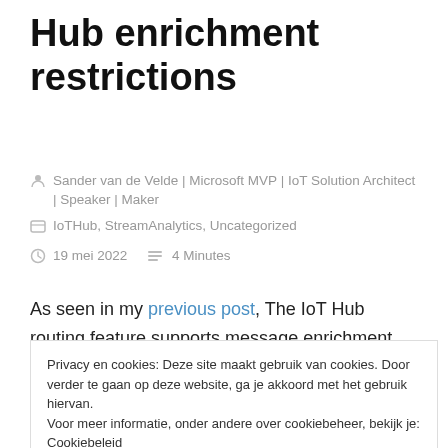Hub enrichment restrictions
Sander van de Velde | Microsoft MVP | IoT Solution Architect | Speaker | Maker
IoTHub, StreamAnalytics, Uncategorized
19 mei 2022   4 Minutes
As seen in my previous post, The IoT Hub routing feature supports message enrichment, both for IoT devices and IoT edge modules.
Privacy en cookies: Deze site maakt gebruik van cookies. Door verder te gaan op deze website, ga je akkoord met het gebruik hiervan.
Voor meer informatie, onder andere over cookiebeheer, bekijk je: Cookiebeleid
Sluiten en bevestigen
properties.